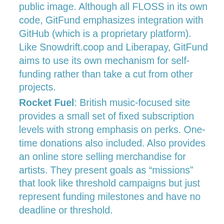public image. Although all FLOSS in its own code, GitFund emphasizes integration with GitHub (which is a proprietary platform). Like Snowdrift.coop and Liberapay, GitFund aims to use its own mechanism for self-funding rather than take a cut from other projects.
Rocket Fuel: British music-focused site provides a small set of fixed subscription levels with strong emphasis on perks. One-time donations also included. Also provides an online store selling merchandise for artists. They present goals as “missions” that look like threshold campaigns but just represent funding milestones and have no deadline or threshold.